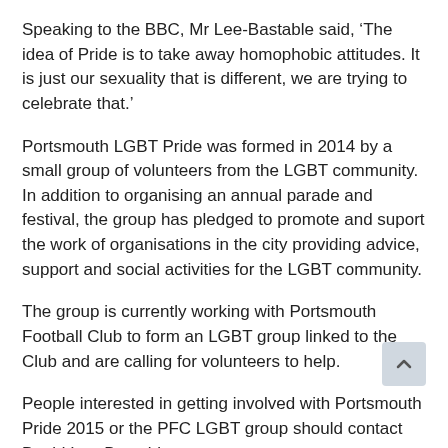Speaking to the BBC, Mr Lee-Bastable said, ‘The idea of Pride is to take away homophobic attitudes. It is just our sexuality that is different, we are trying to celebrate that.’
Portsmouth LGBT Pride was formed in 2014 by a small group of volunteers from the LGBT community. In addition to organising an annual parade and festival, the group has pledged to promote and suport the work of organisations in the city providing advice, support and social activities for the LGBT community.
The group is currently working with Portsmouth Football Club to form an LGBT group linked to the Club and are calling for volunteers to help.
People interested in getting involved with Portsmouth Pride 2015 or the PFC LGBT group should contact David Lee-Bastable at Bastabledave03@gmail.com
Tickets for Portsmouth LGBT Pride 2015 are available from Eventbrite. Find out more about the event at the group’s website or Facebook